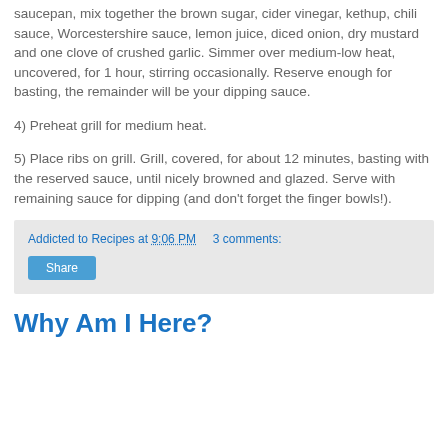saucepan, mix together the brown sugar, cider vinegar, kethup, chili sauce, Worcestershire sauce, lemon juice, diced onion, dry mustard and one clove of crushed garlic.  Simmer over medium-low heat, uncovered, for 1 hour, stirring occasionally.  Reserve enough for basting, the remainder will be your dipping sauce.
4) Preheat grill for medium heat.
5) Place ribs on grill.  Grill, covered, for about 12 minutes, basting with the reserved sauce, until nicely browned and glazed.  Serve with remaining sauce for dipping (and don't forget the finger bowls!).
Addicted to Recipes at 9:06 PM    3 comments:
Why Am I Here?